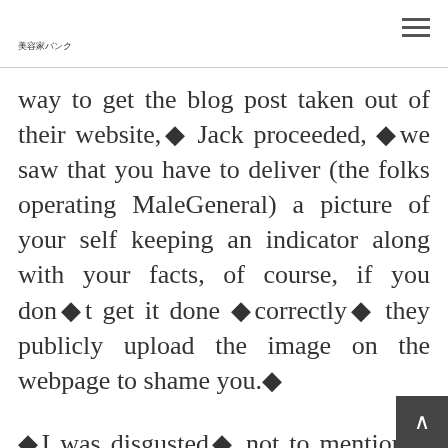美容家バンク
way to get the blog post taken out of their website,◆ Jack proceeded, ◆we saw that you have to deliver (the folks operating MaleGeneral) a picture of your self keeping an indicator along with your facts, of course, if you don◆t get it done ◆correctly◆ they publicly upload the image on the webpage to shame you.◆
◆I was disgusted◆ not to mention, I didn◆t might like to do that therefore I held silent regarding it, thinking nobody